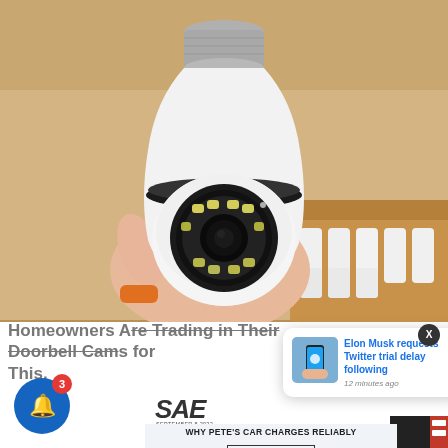[Figure (photo): A hand holding a white light-bulb shaped security camera with LED ring around the lens, with a box of similar cameras in the background]
Homeowners Are Trading in Their Doorbell Cams for This.
[Figure (logo): SAE logo]
[Figure (screenshot): News popup overlay: thumbnail of a hand holding a phone with Twitter logo, headline 'Elon Musk requests Twitter trial delay following', timestamp '12 minutes ago', with X close button]
Why Pete's Car Charges Reliably
WATCH HIS STORY